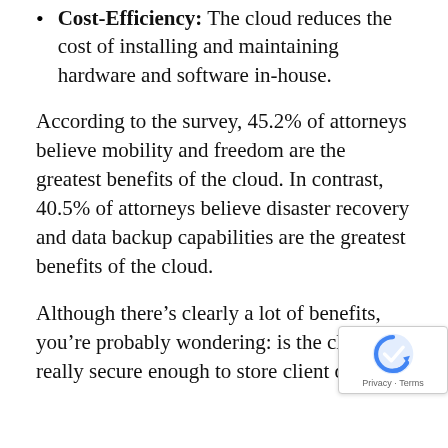Cost-Efficiency: The cloud reduces the cost of installing and maintaining hardware and software in-house.
According to the survey, 45.2% of attorneys believe mobility and freedom are the greatest benefits of the cloud. In contrast, 40.5% of attorneys believe disaster recovery and data backup capabilities are the greatest benefits of the cloud.
Although there’s clearly a lot of benefits, you’re probably wondering: is the cloud really secure enough to store client data